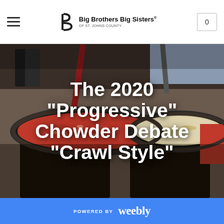Big Brothers Big Sisters OF ST. JOHNS COUNTY
[Figure (photo): Large pots of chowder cooking outdoors, one with red tomato-based chowder and one with white chowder, with long red stirring paddles, people visible in background]
The 2020 "Progressive" Chowder Debate "Crawl Style"
POWERED BY weebly